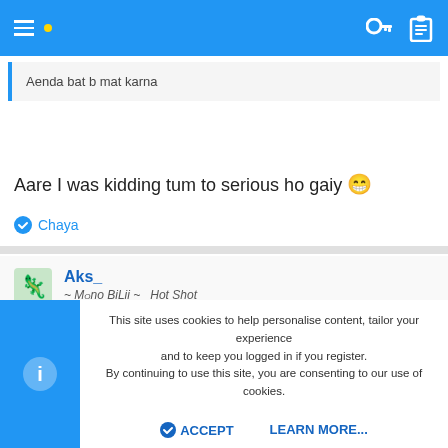Navigation bar with hamburger menu, yellow dot, key icon, clipboard icon
Aenda bat b mat karna
Aare I was kidding tum to serious ho gaiy 😁
Chaya
Aks_
~ Mono BiLii ~ Hot Shot
Dec 27, 2013  #14
This site uses cookies to help personalise content, tailor your experience and to keep you logged in if you register.
By continuing to use this site, you are consenting to our use of cookies.
ACCEPT  LEARN MORE...